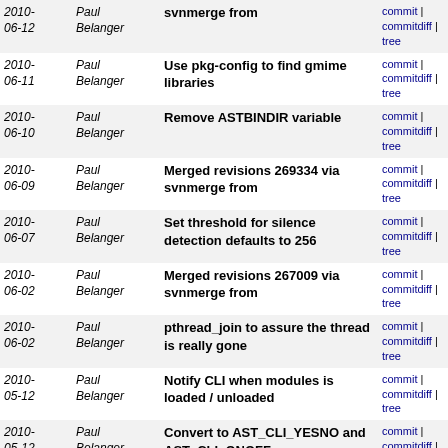| Date | Author | Message | Links |
| --- | --- | --- | --- |
| 2010-06-12 | Paul Belanger | svnmerge from | commit | commitdiff | tree |
| 2010-06-11 | Paul Belanger | Use pkg-config to find gmime libraries | commit | commitdiff | tree |
| 2010-06-10 | Paul Belanger | Remove ASTBINDIR variable | commit | commitdiff | tree |
| 2010-06-09 | Paul Belanger | Merged revisions 269334 via svnmerge from | commit | commitdiff | tree |
| 2010-06-07 | Paul Belanger | Set threshold for silence detection defaults to 256 | commit | commitdiff | tree |
| 2010-06-02 | Paul Belanger | Merged revisions 267009 via svnmerge from | commit | commitdiff | tree |
| 2010-06-02 | Paul Belanger | pthread_join to assure the thread is really gone | commit | commitdiff | tree |
| 2010-05-12 | Paul Belanger | Notify CLI when modules is loaded / unloaded | commit | commitdiff | tree |
| 2010-05-12 | Paul Belanger | Convert to AST_CLI_YESNO and AST_CLI_ONOFF | commit | commitdiff | tree |
| 2010-05-11 | Paul Belanger | Improve logging by displaying line number | commit | commitdiff | tree |
| 2010-05-11 | Paul Belanger | Improve logging information for misconfigured contexts | commit | commitdiff | tree |
| 2010-05-05 | Paul Belanger | Merged revisions 261274 via svnmerge from | commit | commitdiff | tree |
| 2010-05-05 | Paul Belanger | 'queue reset stats' erroneously clears wrapuptime configuration. | commit | commitdiff | tree |
next